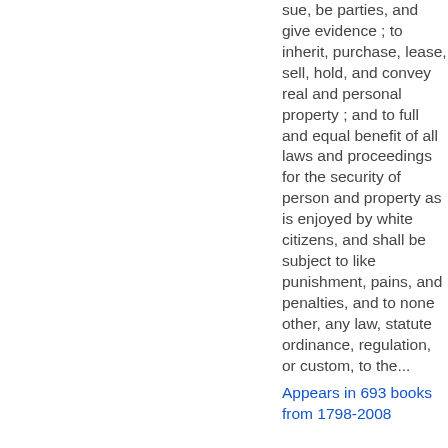sue, be parties, and give evidence ; to inherit, purchase, lease, sell, hold, and convey real and personal property ; and to full and equal benefit of all laws and proceedings for the security of person and property as is enjoyed by white citizens, and shall be subject to like punishment, pains, and penalties, and to none other, any law, statute ordinance, regulation, or custom, to the...
Appears in 693 books from 1798-2008
Page 62 - ... no civil suit shall be brought before either of said courts